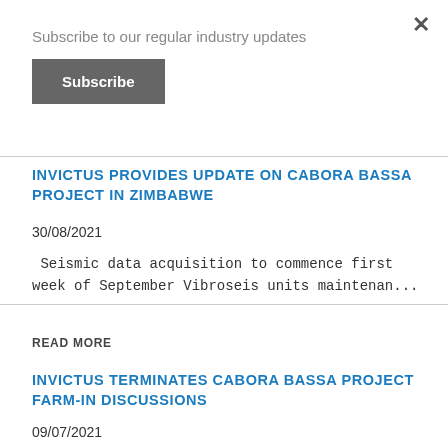Subscribe to our regular industry updates
Subscribe
INVICTUS PROVIDES UPDATE ON CABORA BASSA PROJECT IN ZIMBABWE
30/08/2021
Seismic data acquisition to commence first week of September Vibroseis units maintenan...
READ MORE
INVICTUS TERMINATES CABORA BASSA PROJECT FARM-IN DISCUSSIONS
09/07/2021